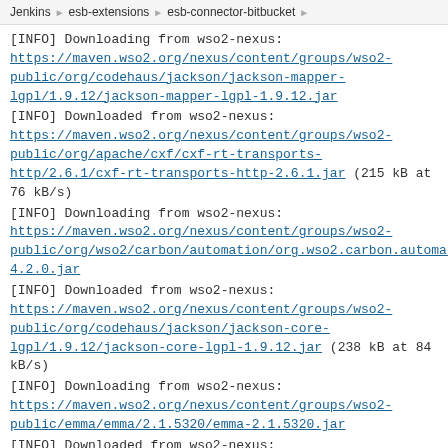Jenkins > esb-extensions > esb-connector-bitbucket >
[INFO] Downloading from wso2-nexus:
https://maven.wso2.org/nexus/content/groups/wso2-public/org/codehaus/jackson/jackson-mapper-lgpl/1.9.12/jackson-mapper-lgpl-1.9.12.jar
[INFO] Downloaded from wso2-nexus:
https://maven.wso2.org/nexus/content/groups/wso2-public/org/apache/cxf/cxf-rt-transports-http/2.6.1/cxf-rt-transports-http-2.6.1.jar (215 kB at 76 kB/s)
[INFO] Downloading from wso2-nexus:
https://maven.wso2.org/nexus/content/groups/wso2-public/org/wso2/carbon/automation/org.wso2.carbon.automation.utils/4.2.0/org.wso2.carbon.automation.utils-4.2.0.jar
[INFO] Downloaded from wso2-nexus:
https://maven.wso2.org/nexus/content/groups/wso2-public/org/codehaus/jackson/jackson-core-lgpl/1.9.12/jackson-core-lgpl-1.9.12.jar (238 kB at 84 kB/s)
[INFO] Downloading from wso2-nexus:
https://maven.wso2.org/nexus/content/groups/wso2-public/emma/emma/2.1.5320/emma-2.1.5320.jar
[INFO] Downloaded from wso2-nexus: